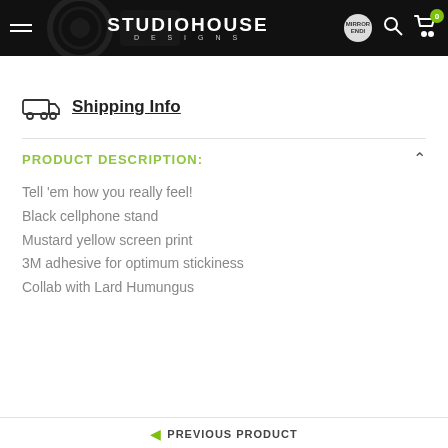STUDIOHOUSE DESIGNS
Shipping Info
PRODUCT DESCRIPTION:
Tell 'em how you really feel!
Black cellphone stand
Mustard yellow screen print
3M adhesive for optimum stickiness
Collab with Lard Humungus
PREVIOUS PRODUCT